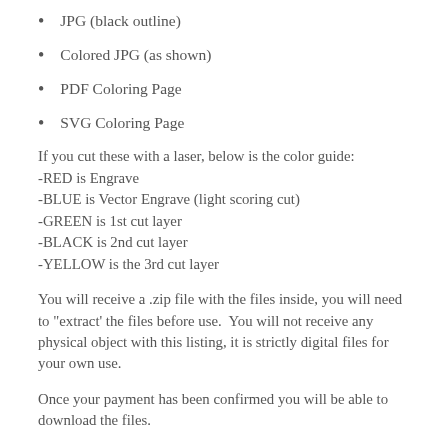JPG (black outline)
Colored JPG (as shown)
PDF Coloring Page
SVG Coloring Page
If you cut these with a laser, below is the color guide:
-RED is Engrave
-BLUE is Vector Engrave (light scoring cut)
-GREEN is 1st cut layer
-BLACK is 2nd cut layer
-YELLOW is the 3rd cut layer
You will receive a .zip file with the files inside, you will need to "extract' the files before use.  You will not receive any physical object with this listing, it is strictly digital files for your own use.
Once your payment has been confirmed you will be able to download the files.